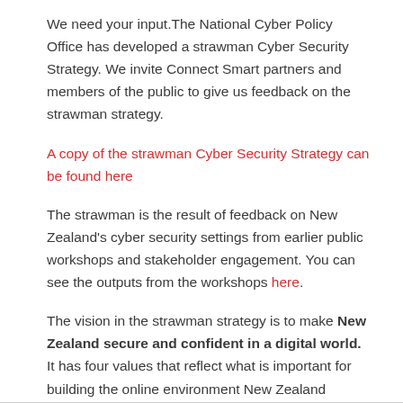We need your input.The National Cyber Policy Office has developed a strawman Cyber Security Strategy. We invite Connect Smart partners and members of the public to give us feedback on the strawman strategy.
A copy of the strawman Cyber Security Strategy can be found here
The strawman is the result of feedback on New Zealand's cyber security settings from earlier public workshops and stakeholder engagement. You can see the outputs from the workshops here.
The vision in the strawman strategy is to make New Zealand secure and confident in a digital world. It has four values that reflect what is important for building the online environment New Zealand needs: